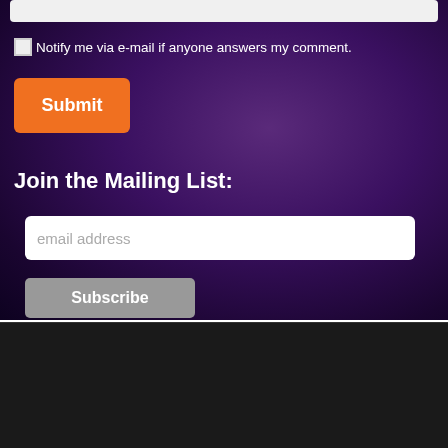[Figure (screenshot): Purple gradient background with dark space-like texture]
Notify me via e-mail if anyone answers my comment.
Submit
Join the Mailing List:
email address
Subscribe
We are using cookies to give you the best experience on our website.
You can find out more about which cookies we are using or switch them off in settings.
Accept